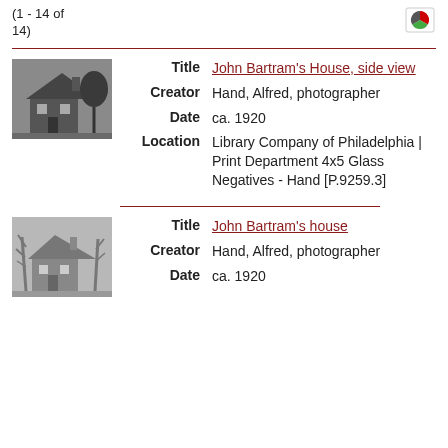(1 - 14 of 14)
[Figure (logo): Small pie chart icon]
[Figure (photo): Black and white photo of John Bartram's House, side view — a historic house with gable roof and trees]
| Title | John Bartram's House, side view |
| Creator | Hand, Alfred, photographer |
| Date | ca. 1920 |
| Location | Library Company of Philadelphia | Print Department 4x5 Glass Negatives - Hand [P.9259.3] |
[Figure (photo): Black and white photo of John Bartram's house — a historic house with bare trees in foreground]
| Title | John Bartram's house |
| Creator | Hand, Alfred, photographer |
| Date | ca. 1920 |